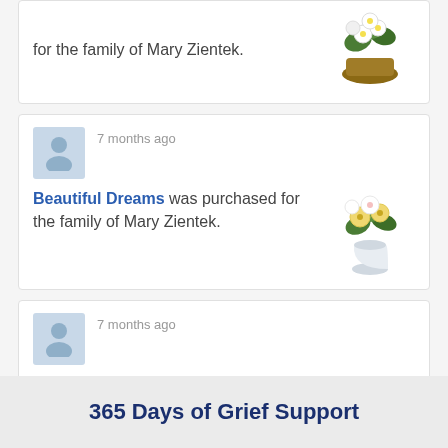for the family of Mary Zientek.
7 months ago
Beautiful Dreams was purchased for the family of Mary Zientek.
[Figure (photo): Flower arrangement - Beautiful Dreams bouquet with yellow roses and white lilies in a white vase]
7 months ago
Beautiful in Blue was purchased for the family of Mary Zientek.
[Figure (photo): Flower arrangement - Beautiful in Blue bouquet with white and blue flowers in a blue vase]
365 Days of Grief Support